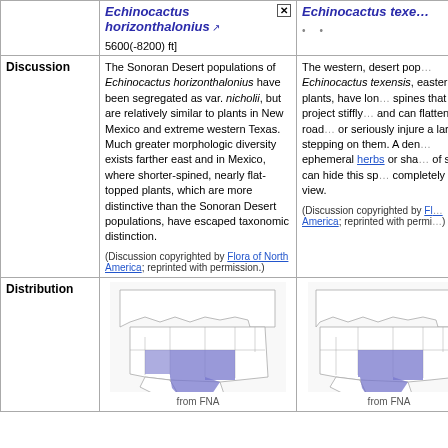|  | Echinocactus horizonthalonius | Echinocactus texe... |
| --- | --- | --- |
|  | 5600(-8200) ft] |  |
| Discussion | The Sonoran Desert populations of Echinocactus horizonthalonius have been segregated as var. nicholii, but are relatively similar to plants in New Mexico and extreme western Texas. Much greater morphologic diversity exists farther east and in Mexico, where shorter-spined, nearly flat-topped plants, which are more distinctive than the Sonoran Desert populations, have escaped taxonomic distinction.
(Discussion copyrighted by Flora of North America; reprinted with permission.) | The western, desert pop... Echinocactus texensis, eastern plants, have lon... spines that project stiffly... and can flatten off-road... or seriously injure a larg... stepping on them. A den... ephemeral herbs or sha... of snow can hide this sp... completely from view.
(Discussion copyrighted by Fl... America; reprinted with permi... |
| Distribution | [map from FNA] | [map from FNA] |
[Figure (map): Distribution map of Echinocactus horizonthalonius in North America, showing range highlighted in blue across southwestern US (New Mexico, Texas, Arizona). Labeled 'from FNA'.]
[Figure (map): Distribution map of Echinocactus texensis in North America, showing range highlighted in blue in New Mexico and Texas. Labeled 'from FNA'.]